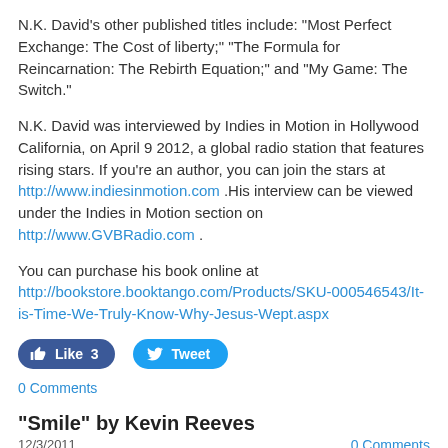N.K. David's other published titles include: “Most Perfect Exchange: The Cost of liberty;” “The Formula for Reincarnation: The Rebirth Equation;” and “My Game: The Switch.”
N.K. David was interviewed by Indies in Motion in Hollywood California, on April 9 2012, a global radio station that features rising stars. If you’re an author, you can join the stars at http://www.indiesinmotion.com .His interview can be viewed under the Indies in Motion section on http://www.GVBRadio.com .
You can purchase his book online at http://bookstore.booktango.com/Products/SKU-000546543/It-is-Time-We-Truly-Know-Why-Jesus-Wept.aspx
[Figure (other): Like and Tweet social buttons: Facebook Like button showing count 3, and Twitter Tweet button]
0 Comments
"Smile" by Kevin Reeves
12/3/2011   0 Comments